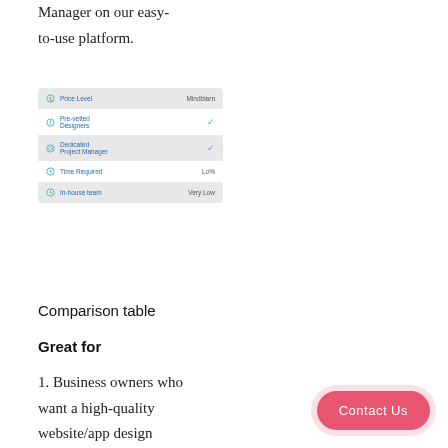Manager on our easy-to-use platform.
[Figure (screenshot): Comparison table UI showing rows: Price Level (Mindblarn), Pre-vetted Designers (checkmark), Dedicated Project Manager (checkmark), Time Required (Lo%), In-house team (Very Low)]
Comparison table
Great for
1. Business owners who want a high-quality website/app design